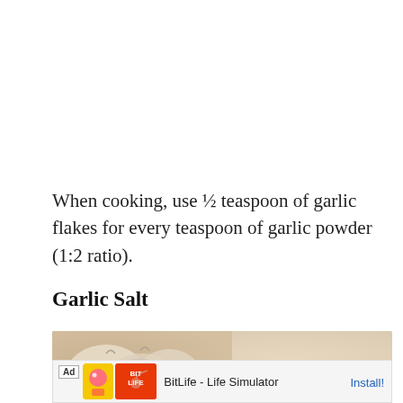When cooking, use ½ teaspoon of garlic flakes for every teaspoon of garlic powder (1:2 ratio).
Garlic Salt
[Figure (photo): Close-up photo of garlic bulbs and cloves on a wooden surface]
Ad  BitLife - Life Simulator  Install!